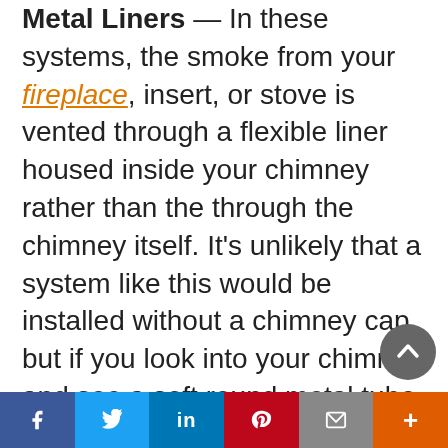Metal Liners — In these systems, the smoke from your fireplace, insert, or stove is vented through a flexible liner housed inside your chimney rather than the through the chimney itself. It's unlikely that a system like this would be installed without a chimney cap, but if you look into your chimney and see a soft round metal tube, then that's exactly what you've got. When capping this kind of chimney, you have to use a slip-in model.
Multi-Flue Chimneys — A multi-flue
f  t  in  P  (email)  +